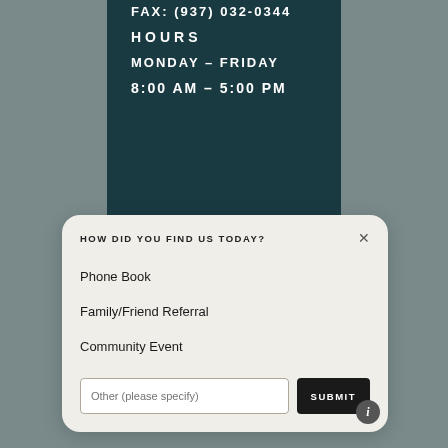FAX: (937) 032-0344
HOURS
MONDAY – FRIDAY
8:00 AM – 5:00 PM
HOW DID YOU FIND US TODAY?
Phone Book
Family/Friend Referral
Community Event
Other (please specify)
SUBMIT